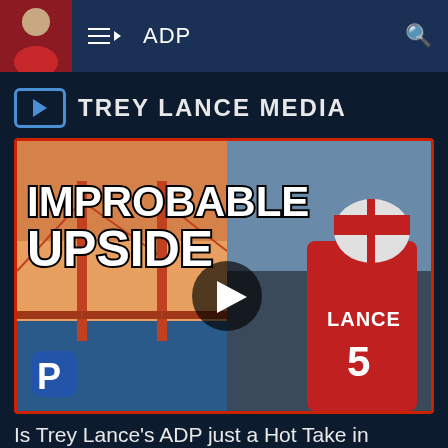ADP
TREY LANCE MEDIA
[Figure (screenshot): Video thumbnail showing 'IMPROBABLE UPSIDE' text overlaid on a split image: left side is the Golden Gate Bridge at sunset, right side is a football player wearing a red 49ers jersey with number 5 and name LANCE on the back, wearing a red and white helmet. A play button is centered on the image. A blue app icon with 'P' appears in the bottom left.]
Is Trey Lance's ADP just a Hot Take in redraft?